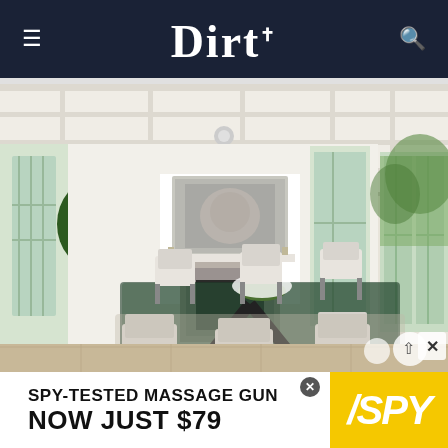Dirt
[Figure (photo): Elegant interior dining room with coffered white ceiling, marble fireplace, glass dining table with modern white chairs, large windows with natural light, fiddle leaf fig tree in black planter, and French doors opening to outdoor greenery.]
SPY-TESTED MASSAGE GUN NOW JUST $79